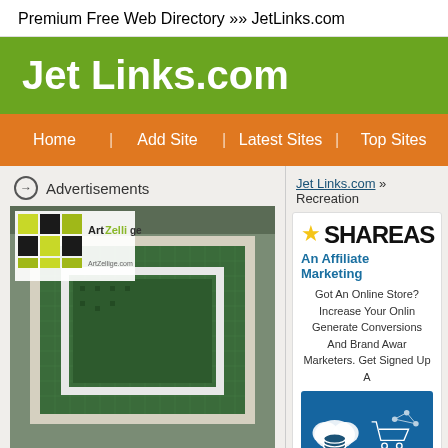Premium Free Web Directory »» JetLinks.com
Jet Links.com
Home | Add Site | Latest Sites | Top Sites
Advertisements
Jet Links.com » Recreation
[Figure (photo): Photo of a decorative Moroccan mosaic tile pool (zellij tilework) with green and white geometric pattern, with ArtZellige.com logo overlay in top left]
[Figure (screenshot): ShareASale affiliate marketing advertisement. Yellow star icon, SHAREAS (truncated) logo in bold black, 'An Affiliate Marketing' subtitle in blue, text about online store and conversions, and blue banner with cloud and shopping cart icons at bottom.]